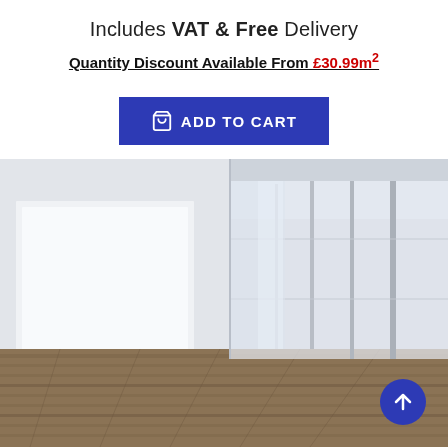Includes VAT & Free Delivery
Quantity Discount Available From £30.99m²
ADD TO CART
[Figure (photo): Interior office corridor with large glass partition walls and wooden flooring. A white panel/board is mounted on the left wall. A blue scroll-to-top arrow button overlays the bottom right.]